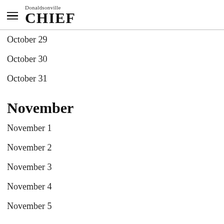Donaldsonville CHIEF
October 29
October 30
October 31
November
November 1
November 2
November 3
November 4
November 5